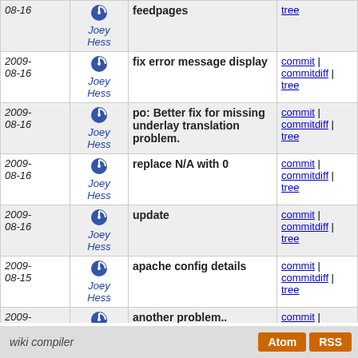| Date | Author | Message | Links |
| --- | --- | --- | --- |
| 2009-08-16 | Joey Hess | feedpages | commit | commitdiff | tree |
| 2009-08-16 | Joey Hess | fix error message display | commit | commitdiff | tree |
| 2009-08-16 | Joey Hess | po: Better fix for missing underlay translation problem. | commit | commitdiff | tree |
| 2009-08-16 | Joey Hess | replace N/A with 0 | commit | commitdiff | tree |
| 2009-08-16 | Joey Hess | update | commit | commitdiff | tree |
| 2009-08-15 | Joey Hess | apache config details | commit | commitdiff | tree |
| 2009-08-15 | Joey Hess | another problem.. | commit | commitdiff | tree |
| 2009-08-15 | Joey Hess | update | commit | commitdiff | tree |
next
wiki compiler  Atom  RSS